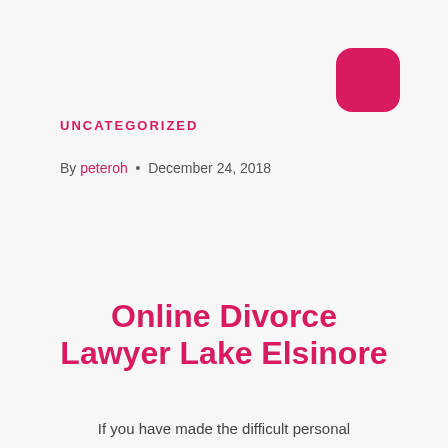[Figure (logo): Rounded square logo icon in crimson/dark pink color, positioned top right corner]
UNCATEGORIZED
By peteroh • December 24, 2018
Online Divorce Lawyer Lake Elsinore
If you have made the difficult personal